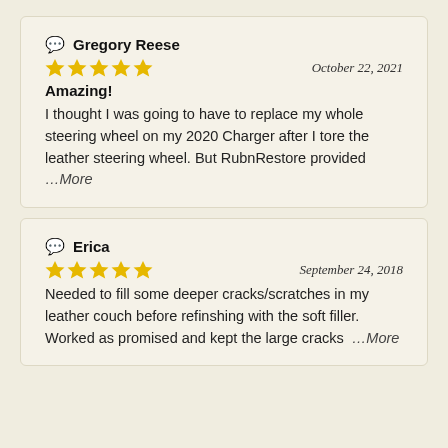Gregory Reese — October 22, 2021 — Amazing! — I thought I was going to have to replace my whole steering wheel on my 2020 Charger after I tore the leather steering wheel. But RubnRestore provided …More
Erica — September 24, 2018 — Needed to fill some deeper cracks/scratches in my leather couch before refinshing with the soft filler. Worked as promised and kept the large cracks …More